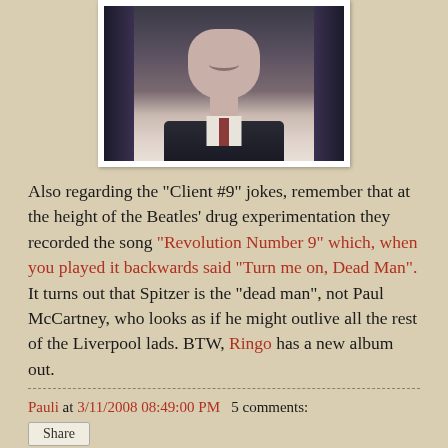[Figure (photo): Photo of a man (Spitzer) in a dark suit with a grimacing expression, against dark curtains background]
Also regarding the "Client #9" jokes, remember that at the height of the Beatles' drug experimentation they recorded the song "Revolution Number 9" which, when you played it backwards said "Turn me on, Dead Man". It turns out that Spitzer is the "dead man", not Paul McCartney, who looks as if he might outlive all the rest of the Liverpool lads. BTW, Ringo has a new album out.
Pauli at 3/11/2008 08:49:00 PM   5 comments:
Share
2006 Spitzer ad: "Responsibility Road"